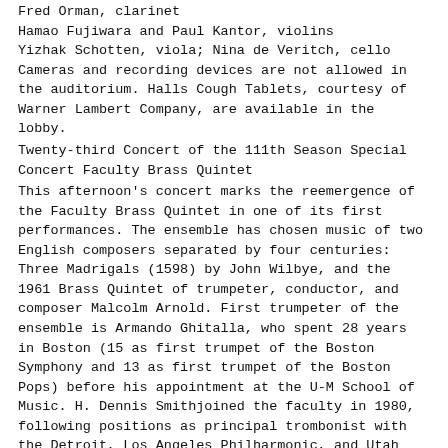Fred Orman, clarinet
Hamao Fujiwara and Paul Kantor, violins
Yizhak Schotten, viola; Nina de Veritch, cello
Cameras and recording devices are not allowed in the auditorium. Halls Cough Tablets, courtesy of Warner Lambert Company, are available in the lobby.
Twenty-third Concert of the 111th Season Special Concert Faculty Brass Quintet
This afternoon's concert marks the reemergence of the Faculty Brass Quintet in one of its first performances. The ensemble has chosen music of two English composers separated by four centuries: Three Madrigals (1598) by John Wilbye, and the 1961 Brass Quintet of trumpeter, conductor, and composer Malcolm Arnold. First trumpeter of the ensemble is Armando Ghitalla, who spent 28 years in Boston (15 as first trumpet of the Boston Symphony and 13 as first trumpet of the Boston Pops) before his appointment at the U-M School of Music. H. Dennis Smithjoined the faculty in 1980, following positions as principal trombonist with the Detroit, Los Angeles Philharmonic, and Utah Symphony Orchestras. Fritz Kaenzig, newly appointed associate pro?fessor of tubaeuphonium, has played with the orchestras of San Francisco, Houston, and St. Louis, and during summers since 1984 has been principal tubist of the Grant Park (Chicago) Symphony Orchestra. He comes to Ann Arbor after